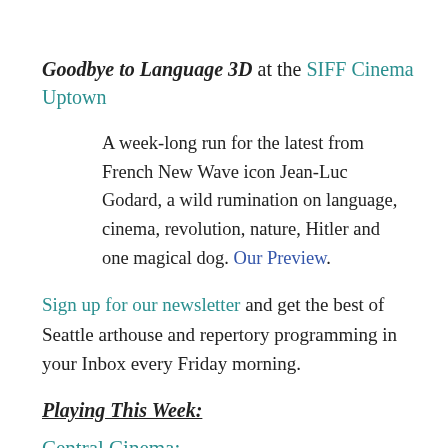Goodbye to Language 3D at the SIFF Cinema Uptown
A week-long run for the latest from French New Wave icon Jean-Luc Godard, a wild rumination on language, cinema, revolution, nature, Hitler and one magical dog. Our Preview.
Sign up for our newsletter and get the best of Seattle arthouse and repertory programming in your Inbox every Friday morning.
Playing This Week:
Central Cinema: